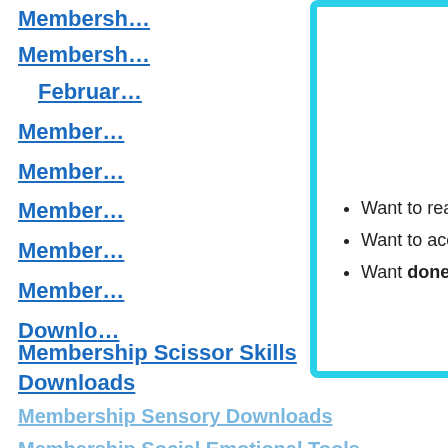Membersh...
Membersh...
Februar...
Member...
Member...
Member...
Member...
Member...
Downlo...
[Figure (logo): OT Toolbox Members Club logo - circular yellow badge with pink and blue text reading TOOLBOX MEMBERS CLUB with decorative elements]
Want to read the website AD-FREE?
Want to access all of our downloads in one place?
Want done for you therapy tools and materials
JOIN THE OT TOOLBOX MEMBER'S CLUB!
Membership Scissor Skills Downloads
Membership Sensory Downloads
Membership Social Emotional Tools